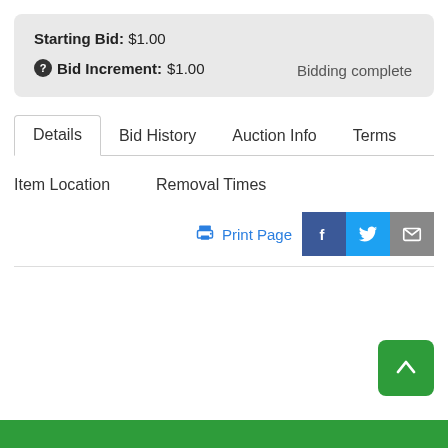Starting Bid: $1.00
Bid Increment: $1.00
Bidding complete
Details
Bid History
Auction Info
Terms
Item Location
Removal Times
Print Page
[Figure (other): Scroll to top button (green rounded square with upward arrow)]